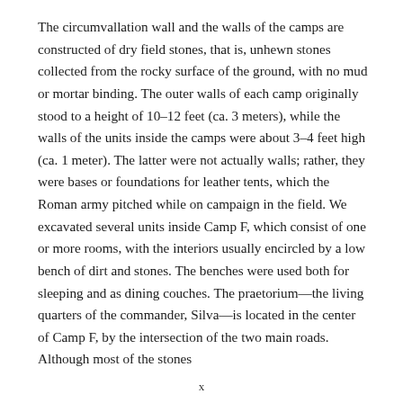The circumvallation wall and the walls of the camps are constructed of dry field stones, that is, unhewn stones collected from the rocky surface of the ground, with no mud or mortar binding. The outer walls of each camp originally stood to a height of 10–12 feet (ca. 3 meters), while the walls of the units inside the camps were about 3–4 feet high (ca. 1 meter). The latter were not actually walls; rather, they were bases or foundations for leather tents, which the Roman army pitched while on campaign in the field. We excavated several units inside Camp F, which consist of one or more rooms, with the interiors usually encircled by a low bench of dirt and stones. The benches were used both for sleeping and as dining couches. The praetorium—the living quarters of the commander, Silva—is located in the center of Camp F, by the intersection of the two main roads. Although most of the stones
x